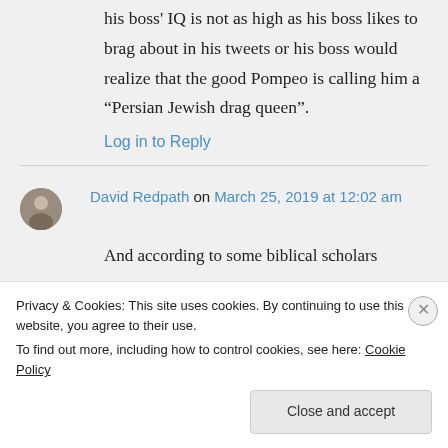his boss' IQ is not as high as his boss likes to brag about in his tweets or his boss would realize that the good Pompeo is calling him a “Persian Jewish drag queen”.
Log in to Reply
David Redpath on March 25, 2019 at 12:02 am
And according to some biblical scholars
Privacy & Cookies: This site uses cookies. By continuing to use this website, you agree to their use.
To find out more, including how to control cookies, see here: Cookie Policy
Close and accept